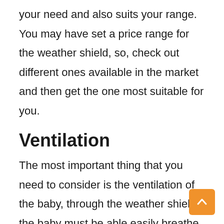your need and also suits your range. You may have set a price range for the weather shield, so, check out different ones available in the market and then get the one most suitable for you.
Ventilation
The most important thing that you need to consider is the ventilation of the baby, through the weather shield, the baby must be able easily breathe. Most of the stro weather shields have a mesh net on the